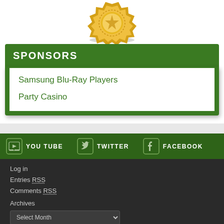[Figure (illustration): Gold medal/badge icon partially visible at top of page]
SPONSORS
Samsung Blu-Ray Players
Party Casino
[Figure (infographic): Social media bar with YouTube, Twitter, and Facebook icons and labels]
Log in
Entries RSS
Comments RSS
Archives
Select Month